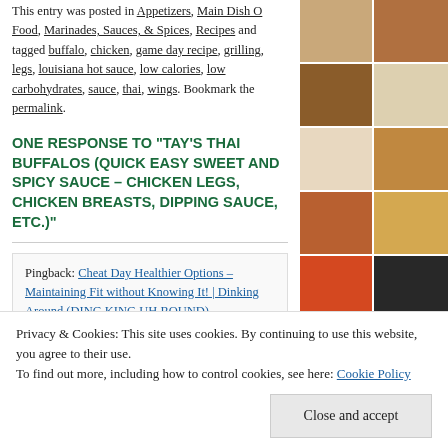This entry was posted in Appetizers, Main Dish O Food, Marinades, Sauces, & Spices, Recipes and tagged buffalo, chicken, game day recipe, grilling, legs, louisiana hot sauce, low calories, low carbohydrates, sauce, thai, wings. Bookmark the permalink.
ONE RESPONSE TO "TAY'S THAI BUFFALOS (QUICK EASY SWEET AND SPICY SAUCE – CHICKEN LEGS, CHICKEN BREASTS, DIPPING SAUCE, ETC.)"
Pingback: Cheat Day Healthier Options – Maintaining Fit without Knowing It! | Dinking Around (DING KING UH ROUND)
[Figure (photo): Grid of food photos showing various chicken and meat dishes]
Privacy & Cookies: This site uses cookies. By continuing to use this website, you agree to their use.
To find out more, including how to control cookies, see here: Cookie Policy
Close and accept